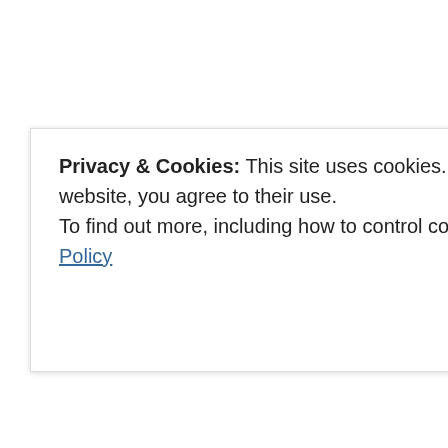– I was vacuuming, and she was in her lit… vacuum off, looked at her, and saw that sh… stifling herself. My heart just about stopp… unbuckled her, and threw out that damn b… have known she was too old for that bour… this happened, Should I even tell anyone?… know about this when she is grown. Don'… tell.
I do all of this hoping that one day when s… the way I did, what was going through my… her, but couldn't.
Yesterday, my daughter turned three, and… years from now.
Privacy & Cookies: This site uses cookies. By continuing to use this website, you agree to their use.
To find out more, including how to control cookies, see here: Cookie Policy
Close and accept
were young? I still don't know… until tha…